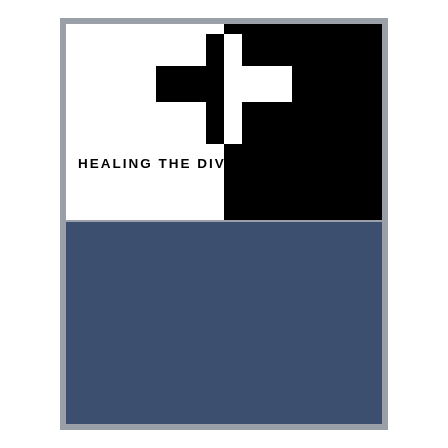[Figure (illustration): Book cover for 'Healing the Divide'. Upper half is split diagonally/vertically: left side white, right side black, with a cross symbol overlapping both halves. Bold text 'HEALING THE DIVIDE' appears in the white section. Lower half is a solid dark navy/steel blue rectangle.]